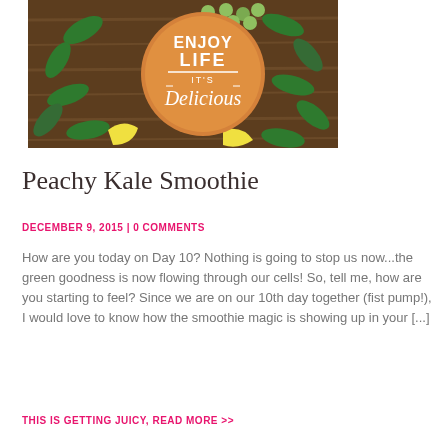[Figure (photo): Food photography showing a wooden cutting board with an orange circular sign reading 'Enjoy Life It's Delicious', surrounded by green spinach leaves, grapes, and lemon/yellow fruit pieces on a dark wooden surface.]
Peachy Kale Smoothie
DECEMBER 9, 2015 | 0 COMMENTS
How are you today on Day 10? Nothing is going to stop us now...the green goodness is now flowing through our cells! So, tell me, how are you starting to feel? Since we are on our 10th day together (fist pump!), I would love to know how the smoothie magic is showing up in your [...]
THIS IS GETTING JUICY, READ MORE >>